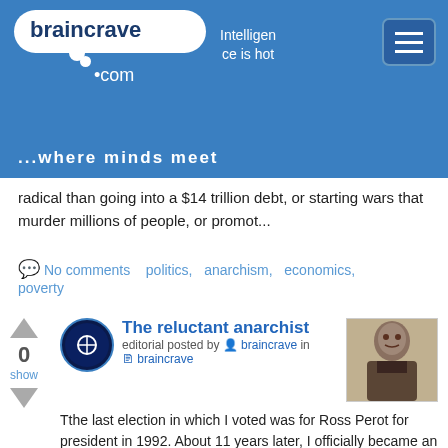braincrave.com — Intelligence is hot — ...where minds meet
radical than going into a $14 trillion debt, or starting wars that murder millions of people, or promot...
No comments   politics,   anarchism,   economics,   poverty
The reluctant anarchist
editorial posted by braincrave in braincrave
Tthe last election in which I voted was for Ross Perot for president in 1992. About 11 years later, I officially became an anarchist. In fact, even 8 years ago, I was arguing with an anarchist that,...
No comments   politics,   anarchism